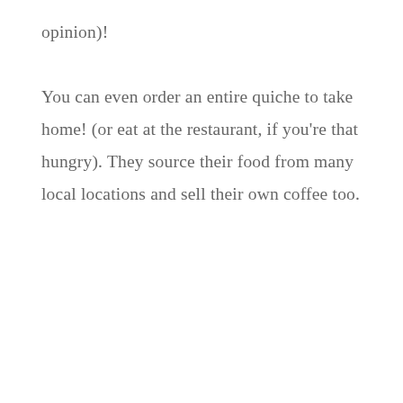opinion)! You can even order an entire quiche to take home! (or eat at the restaurant, if you're that hungry). They source their food from many local locations and sell their own coffee too.